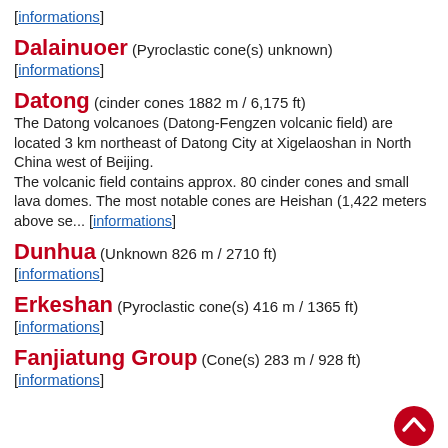[informations]
Dalainuoer (Pyroclastic cone(s) unknown)
[informations]
Datong (cinder cones 1882 m / 6,175 ft)
The Datong volcanoes (Datong-Fengzen volcanic field) are located 3 km northeast of Datong City at Xigelaoshan in North China west of Beijing.
The volcanic field contains approx. 80 cinder cones and small lava domes. The most notable cones are Heishan (1,422 meters above se... [informations]
Dunhua (Unknown 826 m / 2710 ft)
[informations]
Erkeshan (Pyroclastic cone(s) 416 m / 1365 ft)
[informations]
Fanjiatung Group (Cone(s) 283 m / 928 ft)
[informations]